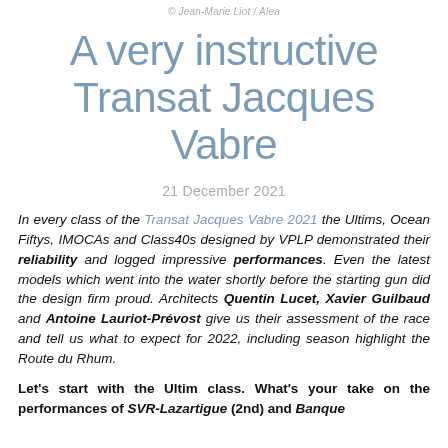© Jean-Marie Liot / Alea
A very instructive Transat Jacques Vabre
21 December 2021
In every class of the Transat Jacques Vabre 2021 the Ultims, Ocean Fiftys, IMOCAs and Class40s designed by VPLP demonstrated their reliability and logged impressive performances. Even the latest models which went into the water shortly before the starting gun did the design firm proud. Architects Quentin Lucet, Xavier Guilbaud and Antoine Lauriot-Prévost give us their assessment of the race and tell us what to expect for 2022, including season highlight the Route du Rhum.
Let's start with the Ultim class. What's your take on the performances of SVR-Lazartigue (2nd) and Banque